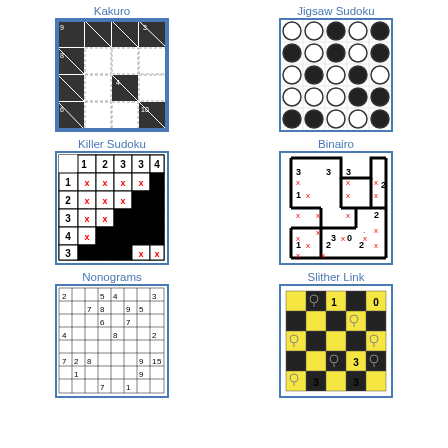Kakuro
[Figure (illustration): Kakuro puzzle grid with dashed inner lines and numbers in black cells]
Jigsaw Sudoku
[Figure (illustration): Jigsaw Sudoku puzzle with black and white circles in a 5x5 grid]
Killer Sudoku
[Figure (illustration): Nonogram/Killer Sudoku grid with X marks in red and black filled cells]
Binairo
[Figure (illustration): Slither Link puzzle grid with numbers and bold boundary lines]
Nonograms
[Figure (illustration): Nonogram puzzle grid with numbers as clues]
Slither Link
[Figure (illustration): Checkerboard puzzle with lightbulb icons and numbers]